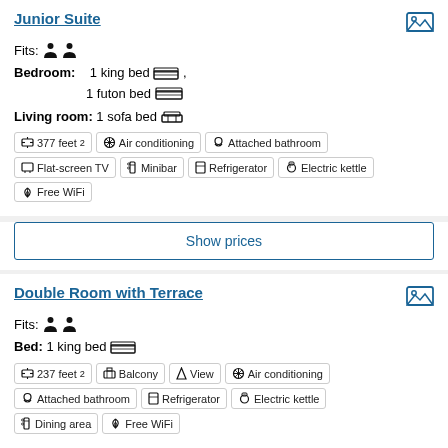Junior Suite
Fits: (2 person icons)
Bedroom: 1 king bed [icon], 1 futon bed [icon]
Living room: 1 sofa bed [icon]
Amenities: 377 feet², Air conditioning, Attached bathroom, Flat-screen TV, Minibar, Refrigerator, Electric kettle, Free WiFi
Show prices
Double Room with Terrace
Fits: (2 person icons)
Bed: 1 king bed [icon]
Amenities: 237 feet², Balcony, View, Air conditioning, Attached bathroom, Refrigerator, Electric kettle, Dining area, Free WiFi